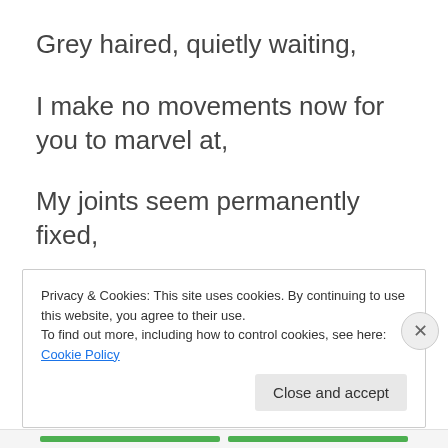Grey haired, quietly waiting,
I make no movements now for you to marvel at,
My joints seem permanently fixed,
Not flexible or free from pain.
Privacy & Cookies: This site uses cookies. By continuing to use this website, you agree to their use.
To find out more, including how to control cookies, see here: Cookie Policy
Close and accept